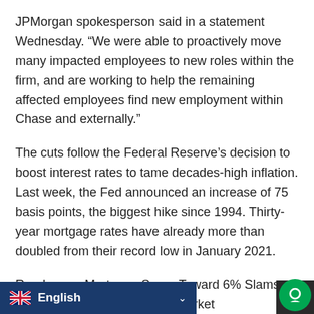JPMorgan spokesperson said in a statement Wednesday. “We were able to proactively move many impacted employees to new roles within the firm, and are working to help the remaining affected employees find new employment within Chase and externally.”
The cuts follow the Federal Reserve’s decision to boost interest rates to tame decades-high inflation. Last week, the Fed announced an increase of 75 basis points, the biggest hike since 1994. Thirty-year mortgage rates have already more than doubled from their record low in January 2021.
Read more: Mortgage Surge Toward 6% Slams Brakes on Red-Hot Housing Market
English